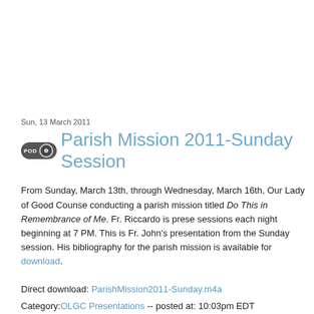Sun, 13 March 2011
Parish Mission 2011-Sunday Session
From Sunday, March 13th, through Wednesday, March 16th, Our Lady of Good Counse conducting a parish mission titled Do This in Remembrance of Me. Fr. Riccardo is prese sessions each night beginning at 7 PM. This is Fr. John's presentation from the Sunday session. His bibliography for the parish mission is available for download.
Direct download: ParishMission2011-Sunday.m4a
Category:OLGC Presentations -- posted at: 10:03pm EDT